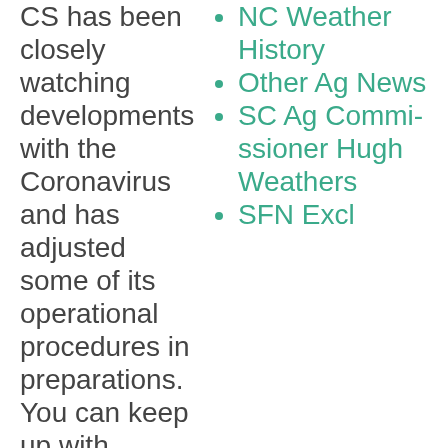CS has been closely watching developments with the Coronavirus and has adjusted some of its operational procedures in preparations. You can keep up with
NC Weather History
Other Ag News
SC Ag Commissioner Hugh Weathers
SFN Excl